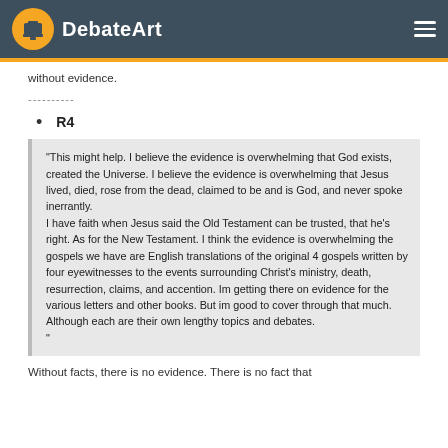DebateArt
without evidence.
----------
R4
"This might help. I believe the evidence is overwhelming that God exists, created the Universe. I believe the evidence is overwhelming that Jesus lived, died, rose from the dead, claimed to be and is God, and never spoke inerrantly.
I have faith when Jesus said the Old Testament can be trusted, that he's right. As for the New Testament. I think the evidence is overwhelming the gospels we have are English translations of the original 4 gospels written by four eyewitnesses to the events surrounding Christ's ministry, death, resurrection, claims, and accention. Im getting there on evidence for the various letters and other books. But im good to cover through that much. Although each are their own lengthy topics and debates.
"
Without facts, there is no evidence. There is no fact that